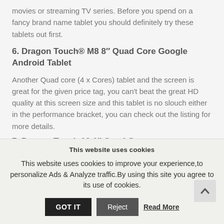movies or streaming TV series. Before you spend on a fancy brand name tablet you should definitely try these tablets out first.
6. Dragon Touch® M8 8" Quad Core Google Android Tablet
Another Quad core (4 x Cores) tablet and the screen is great for the given price tag, you can't beat the great HD quality at this screen size and this tablet is no slouch either in the performance bracket, you can check out the listing for more details.
7. Dragon Touch 10.1" Quad Core
This website uses cookies
This website uses cookies to improve your experience,to personalize Ads & Analyze traffic.By using this site you agree to its use of cookies.
GOT IT  Reject  Read More